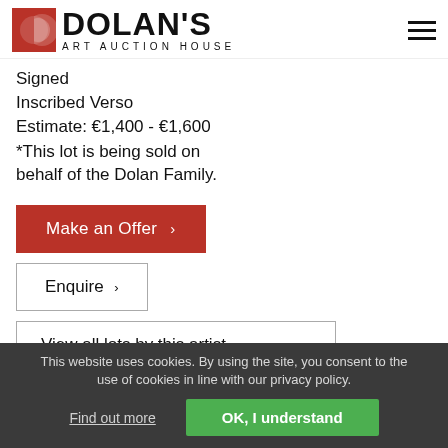[Figure (logo): Dolan's Art Auction House logo with red square icon and text]
Signed
Inscribed Verso
Estimate: €1,400 - €1,600
*This lot is being sold on behalf of the Dolan Family.
Make an Offer ›
Enquire ›
View all lots by this artist ›
This website uses cookies. By using the site, you consent to the use of cookies in line with our privacy policy.
Find out more
OK, I understand